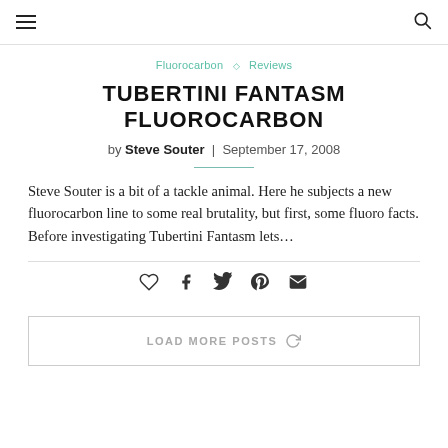≡  [search icon]
Fluorocarbon  ◇  Reviews
TUBERTINI FANTASM FLUOROCARBON
by Steve Souter  |  September 17, 2008
Steve Souter is a bit of a tackle animal. Here he subjects a new fluorocarbon line to some real brutality, but first, some fluoro facts. Before investigating Tubertini Fantasm lets…
[Figure (infographic): Social share icons row: heart, facebook, twitter, pinterest, email]
LOAD MORE POSTS  ↺